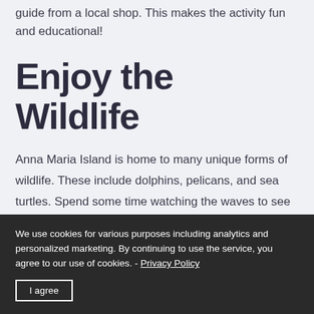guide from a local shop. This makes the activity fun and educational!
Enjoy the Wildlife
Anna Maria Island is home to many unique forms of wildlife. These include dolphins, pelicans, and sea turtles. Spend some time watching the waves to see if you can spot some dolphins playing in the splash. If you
We use cookies for various purposes including analytics and personalized marketing. By continuing to use the service, you agree to our use of cookies. - Privacy Policy
I agree